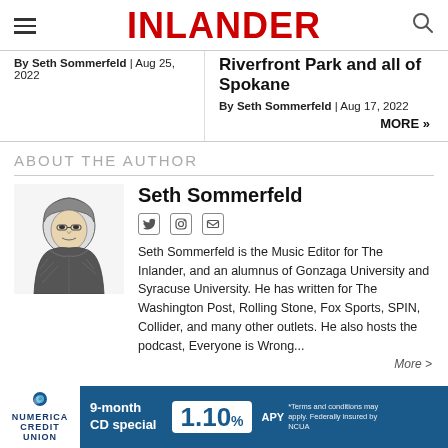INLANDER
By Seth Sommerfeld | Aug 25, 2022
Riverfront Park and all of Spokane
By Seth Sommerfeld | Aug 17, 2022
MORE »
ABOUT THE AUTHOR
[Figure (illustration): Illustrated portrait of Seth Sommerfeld wearing a hoodie, black and white ink drawing style]
Seth Sommerfeld
Seth Sommerfeld is the Music Editor for The Inlander, and an alumnus of Gonzaga University and Syracuse University. He has written for The Washington Post, Rolling Stone, Fox Sports, SPIN, Collider, and many other outlets. He also hosts the podcast, Everyone is Wrong...
More >
[Figure (infographic): Numerica Credit Union advertisement banner: 9-month CD special, 1.10% APY. Terms and conditions may apply. Federally insured by NCUA.]